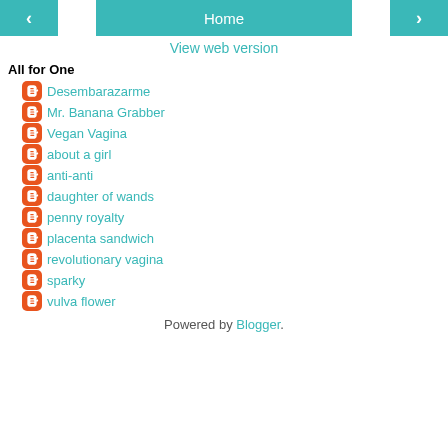< Home >
View web version
All for One
Desembarazarme
Mr. Banana Grabber
Vegan Vagina
about a girl
anti-anti
daughter of wands
penny royalty
placenta sandwich
revolutionary vagina
sparky
vulva flower
Powered by Blogger.